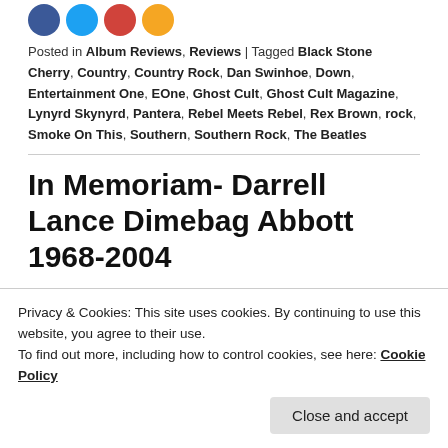[Figure (illustration): Four social media share icon circles: Facebook (dark blue), Twitter (light blue), Reddit (red), and another (orange)]
Posted in Album Reviews, Reviews | Tagged Black Stone Cherry, Country, Country Rock, Dan Swinhoe, Down, Entertainment One, EOne, Ghost Cult, Ghost Cult Magazine, Lynyrd Skynyrd, Pantera, Rebel Meets Rebel, Rex Brown, rock, Smoke On This, Southern, Southern Rock, The Beatles
In Memoriam- Darrell Lance Dimebag Abbott 1968-2004
Posted on December 8, 2014 by News
Privacy & Cookies: This site uses cookies. By continuing to use this website, you agree to their use.
To find out more, including how to control cookies, see here: Cookie Policy